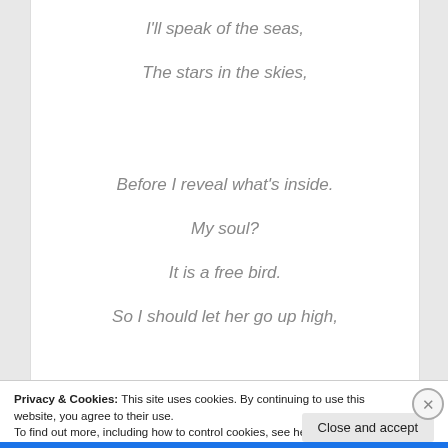I'll speak of the seas,
The stars in the skies,
Before I reveal what's inside.
My soul?
It is a free bird.
So I should let her go up high,
Privacy & Cookies: This site uses cookies. By continuing to use this website, you agree to their use.
To find out more, including how to control cookies, see here: Cookie Policy